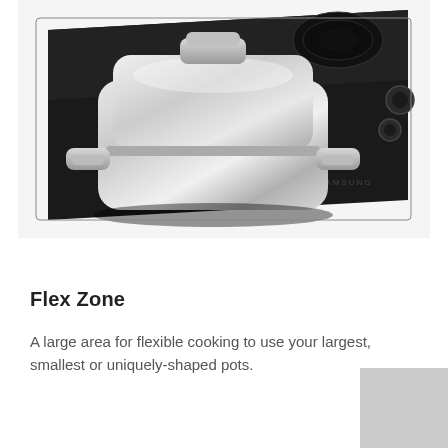[Figure (photo): A stainless steel covered casserole pot with handles sitting on a black Samsung induction cooktop. The cooktop surface is glass-black with visible burner zones and control knobs visible on the right side.]
Flex Zone
A large area for flexible cooking to use your largest, smallest or uniquely-shaped pots.